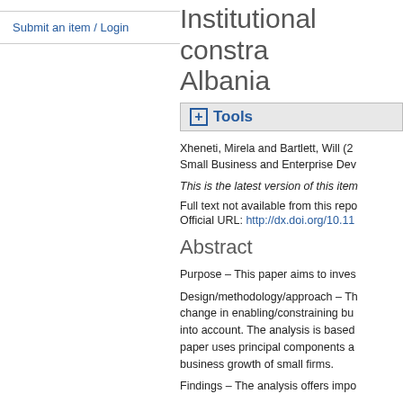Submit an item / Login
Institutional constra... Albania
Tools
Xheneti, Mirela and Bartlett, Will (2... Small Business and Enterprise Dev
This is the latest version of this item
Full text not available from this repo
Official URL: http://dx.doi.org/10.11
Abstract
Purpose – This paper aims to inves
Design/methodology/approach – Th change in enabling/constraining bu into account. The analysis is based paper uses principal components a business growth of small firms.
Findings – The analysis offers impo